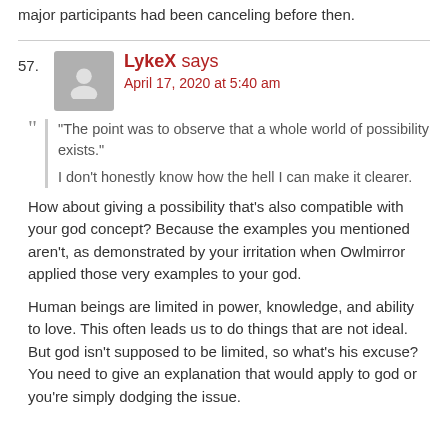major participants had been canceling before then.
57. LykeX says
April 17, 2020 at 5:40 am
“The point was to observe that a whole world of possibility exists.”

I don’t honestly know how the hell I can make it clearer.
How about giving a possibility that’s also compatible with your god concept? Because the examples you mentioned aren’t, as demonstrated by your irritation when Owlmirror applied those very examples to your god.
Human beings are limited in power, knowledge, and ability to love. This often leads us to do things that are not ideal. But god isn’t supposed to be limited, so what’s his excuse? You need to give an explanation that would apply to god or you’re simply dodging the issue.